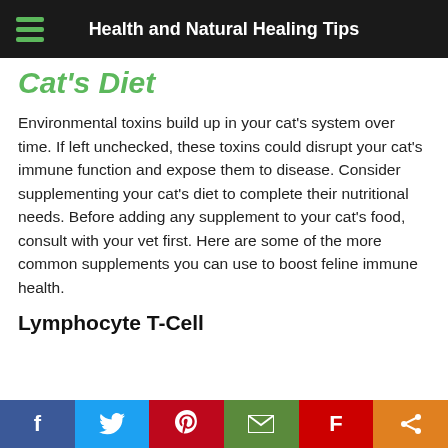Health and Natural Healing Tips
Cat's Diet
Environmental toxins build up in your cat's system over time. If left unchecked, these toxins could disrupt your cat's immune function and expose them to disease. Consider supplementing your cat's diet to complete their nutritional needs. Before adding any supplement to your cat's food, consult with your vet first. Here are some of the more common supplements you can use to boost feline immune health.
Lymphocyte T-Cell